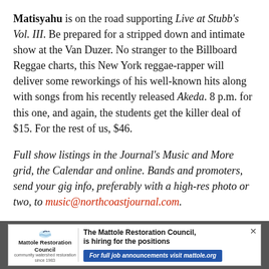Matisyahu is on the road supporting Live at Stubb's Vol. III. Be prepared for a stripped down and intimate show at the Van Duzer. No stranger to the Billboard Reggae charts, this New York reggae-rapper will deliver some reworkings of his well-known hits along with songs from his recently released Akeda. 8 p.m. for this one, and again, the students get the killer deal of $15. For the rest of us, $46.
Full show listings in the Journal's Music and More grid, the Calendar and online. Bands and promoters, send your gig info, preferably with a high-res photo or two, to music@northcoastjournal.com.
Andy Powell is a congenital music lover and hosts The
[Figure (other): Advertisement for Mattole Restoration Council showing logo with bird/fish graphic, organization name, tagline 'community watershed restoration since 1983', and text 'The Mattole Restoration Council, is hiring for the positions' with blue button 'For full job announcements visit mattole.org' and an X close button.]